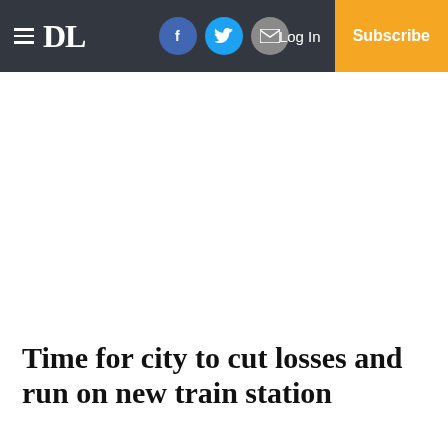DL — Log In — Subscribe
Time for city to cut losses and run on new train station